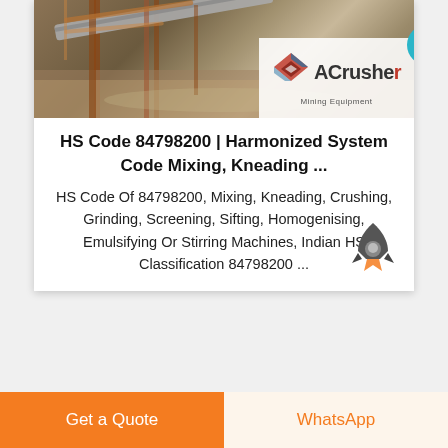[Figure (photo): Industrial mining/crushing equipment facility with conveyor belt, metal structures, and muddy ground. ACrusher Mining Equipment logo overlay in bottom right with Live Chat badge.]
HS Code 84798200 | Harmonized System Code Mixing, Kneading ...
HS Code Of 84798200, Mixing, Kneading, Crushing, Grinding, Screening, Sifting, Homogenising, Emulsifying Or Stirring Machines, Indian HS Classification 84798200 ...
Get a Quote
WhatsApp